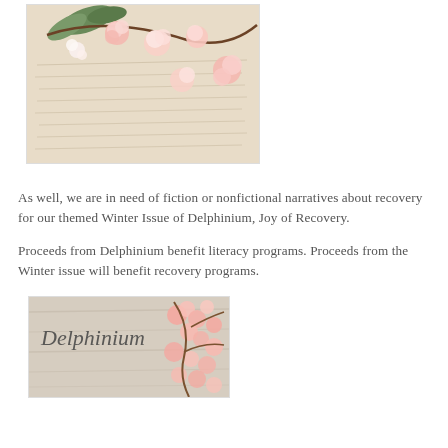[Figure (photo): Close-up photo of pink and white blossoms resting on handwritten script paper, warm cream tones]
As well, we are in need of fiction or nonfictional narratives about recovery for our themed Winter Issue of Delphinium, Joy of Recovery.
Proceeds from Delphinium benefit literacy programs. Proceeds from the Winter issue will benefit recovery programs.
[Figure (photo): Photo of Delphinium magazine cover with pink cherry blossoms on a light wood background, with cursive 'Delphinium' text]